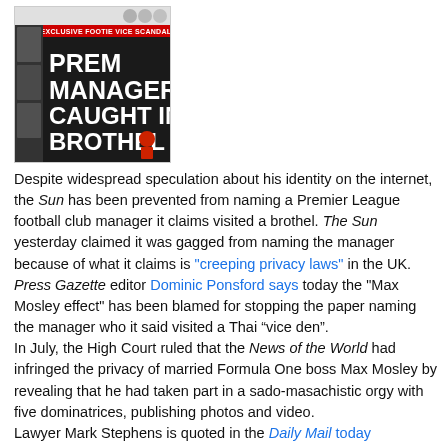[Figure (photo): Newspaper front page showing headline 'PREM MANAGER CAUGHT IN BROTHEL' with red figure illustration, on a dark background with 'EXCLUSIVE FOOTIE VICE SCANDAL' banner]
Despite widespread speculation about his identity on the internet, the Sun has been prevented from naming a Premier League football club manager it claims visited a brothel. The Sun yesterday claimed it was gagged from naming the manager because of what it claims is "creeping privacy laws" in the UK.
Press Gazette editor Dominic Ponsford says today the "Max Mosley effect" has been blamed for stopping the paper naming the manager who it said visited a Thai “vice den”.
In July, the High Court ruled that the News of the World had infringed the privacy of married Formula One boss Max Mosley by revealing that he had taken part in a sado-masachistic orgy with five dominatrices, publishing photos and video.
Lawyer Mark Stephens is quoted in the Daily Mail today